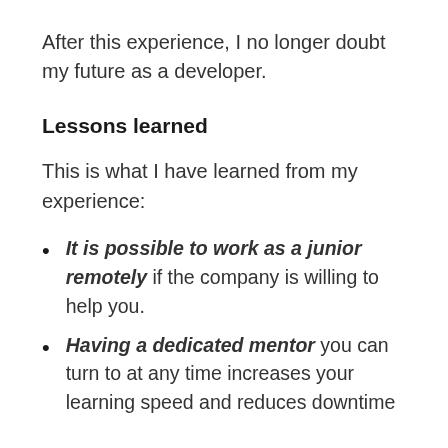After this experience, I no longer doubt my future as a developer.
Lessons learned
This is what I have learned from my experience:
It is possible to work as a junior remotely if the company is willing to help you.
Having a dedicated mentor you can turn to at any time increases your learning speed and reduces downtime